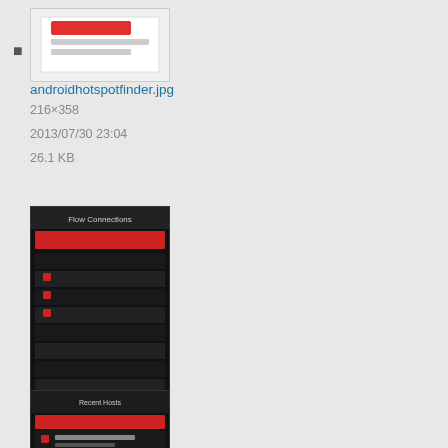androidhotspotfinder.jpg
216×358
2013/07/30 23:04
26.1 KB
androidnetworks.jpg
305×507
2013/07/30 22:55
33.9 KB
androidrecentconnections.jpg
409×646